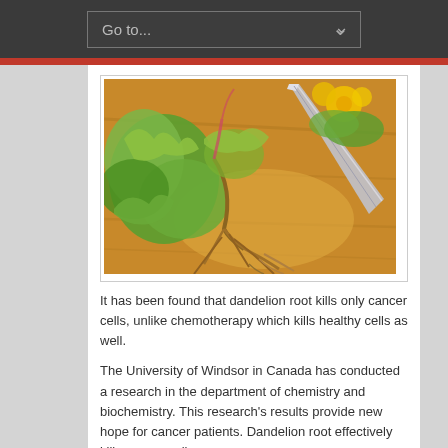Go to...
[Figure (photo): Dandelion plant with roots and leaves on a wooden cutting board, with a knife cutting through the root. Yellow dandelion flowers visible in background.]
It has been found that dandelion root kills only cancer cells, unlike chemotherapy which kills healthy cells as well.
The University of Windsor in Canada has conducted a research in the department of chemistry and biochemistry. This research's results provide new hope for cancer patients. Dandelion root effectively kills cancer cells,